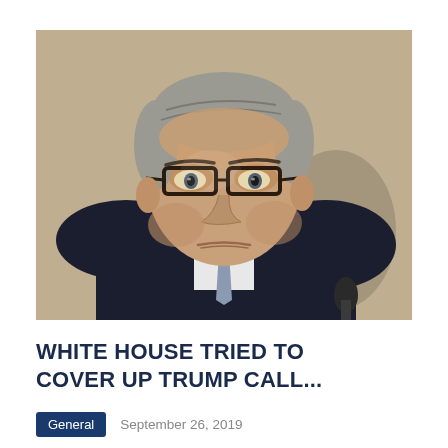[Figure (photo): A middle-aged man with gray hair and dark-rimmed glasses, wearing a dark suit, appearing to testify or speak at a formal hearing. A microphone is partially visible in the lower right. Background is blurred with tan/beige tones and a partial figure behind.]
WHITE HOUSE TRIED TO COVER UP TRUMP CALL...
General   September 26, 2019